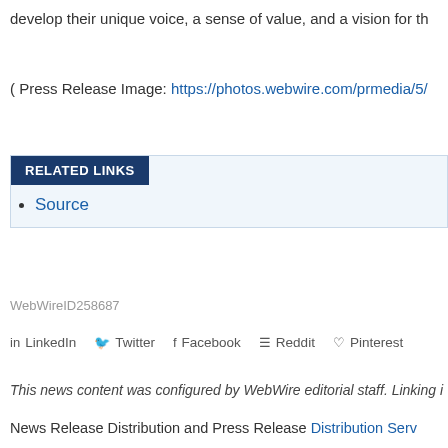develop their unique voice, a sense of value, and a vision for th
( Press Release Image: https://photos.webwire.com/prmedia/5/
RELATED LINKS
Source
WebWireID258687
LinkedIn  Twitter  Facebook  Reddit  Pinterest
This news content was configured by WebWire editorial staff. Linking i
News Release Distribution and Press Release Distribution Serv